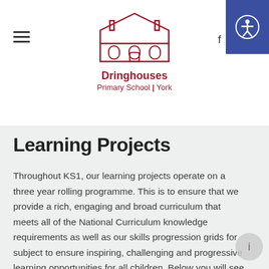[Figure (logo): Dringhouses Primary School York logo — outline drawing of a school building in dark red/crimson]
Dringhouses Primary School | York
Learning Projects
Throughout KS1, our learning projects operate on a three year rolling programme. This is to ensure that we provide a rich, engaging and broad curriculum that meets all of the National Curriculum knowledge requirements as well as our skills progression grids for subject to ensure inspiring, challenging and progressive learning opportunities for all children. Below you will see many of our learning project